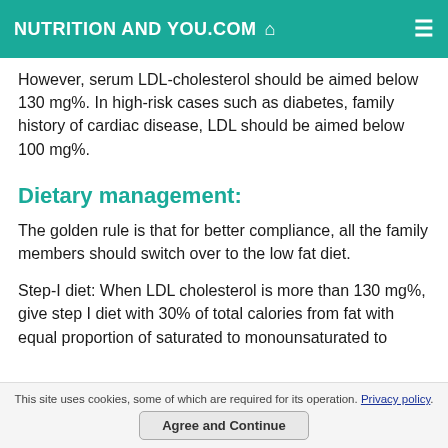NUTRITION AND YOU.COM
However, serum LDL-cholesterol should be aimed below 130 mg%. In high-risk cases such as diabetes, family history of cardiac disease, LDL should be aimed below 100 mg%.
Dietary management:
The golden rule is that for better compliance, all the family members should switch over to the low fat diet.
Step-I diet: When LDL cholesterol is more than 130 mg%, give step I diet with 30% of total calories from fat with equal proportion of saturated to monounsaturated to
This site uses cookies, some of which are required for its operation. Privacy policy.
Agree and Continue